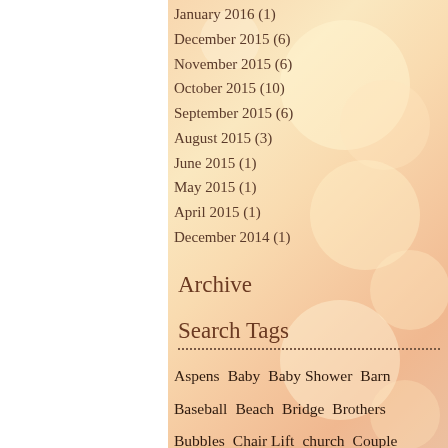January 2016 (1)
December 2015 (6)
November 2015 (6)
October 2015 (10)
September 2015 (6)
August 2015 (3)
June 2015 (1)
May 2015 (1)
April 2015 (1)
December 2014 (1)
Archive
Search Tags
Aspens  Baby  Baby Shower  Barn  Baseball  Beach  Bridge  Brothers  Bubbles  Chair Lift  church  Couple  Cousins  Dogs  Easter  Engagement  Extended Family  Fall  family